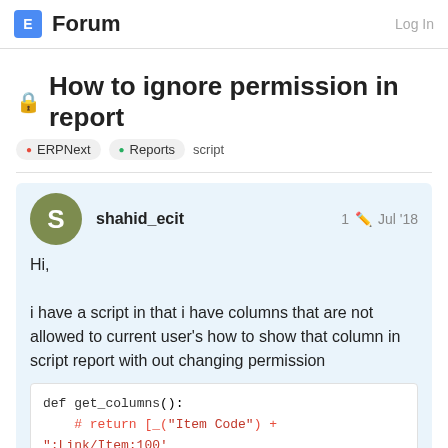E Forum  Log In
🔒 How to ignore permission in report
ERPNext  Reports  script
shahid_ecit  1  Jul '18
Hi,

i have a script in that i have columns that are not allowed to current user's how to show that column in script report with out changing permission
def get_columns():
    # return [_("Item Code") + ":Link/Item:100'
    #     _("Item Group") + ":Link/Item Group:100
    #     _("Earliest") + ":Int:
    return [_("Item Code") + "
1 / 6